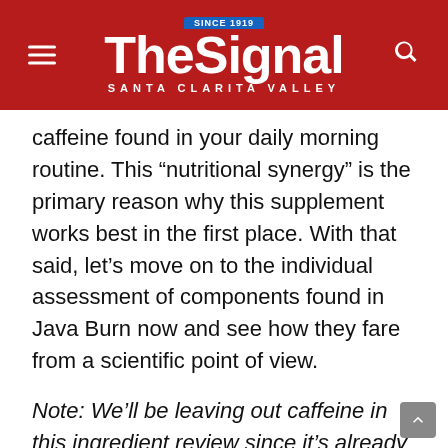The Signal — Santa Clarita Valley
caffeine found in your daily morning routine. This “nutritional synergy” is the primary reason why this supplement works best in the first place. With that said, let’s move on to the individual assessment of components found in Java Burn now and see how they fare from a scientific point of view.
Note: We’ll be leaving out caffeine in this ingredient review since it’s already given that everybody knows what caffeine does.
The Java Burn ingredients (or components) are as follows: